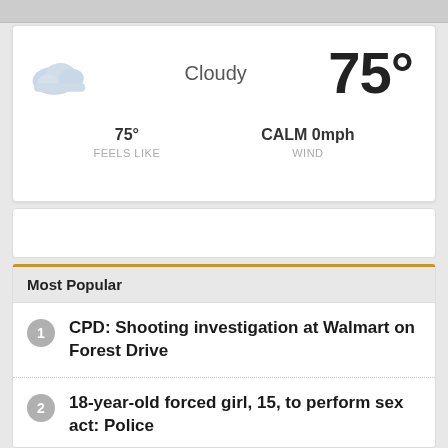[Figure (infographic): Weather widget showing cloudy condition, 75 degrees temperature, feels like 75 degrees, CALM 0mph wind]
[Figure (other): Advertisement placeholder banner]
Most Popular
CPD: Shooting investigation at Walmart on Forest Drive
18-year-old forced girl, 15, to perform sex act: Police